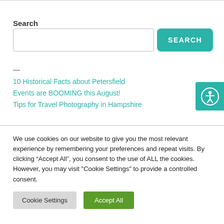Search
[Figure (screenshot): Search input box with teal SEARCH button]
10 Historical Facts about Petersfield
Events are BOOMING this August!
Tips for Travel Photography in Hampshire
[Figure (illustration): Accessibility icon button (person with circle outline) in teal]
We use cookies on our website to give you the most relevant experience by remembering your preferences and repeat visits. By clicking “Accept All”, you consent to the use of ALL the cookies. However, you may visit "Cookie Settings" to provide a controlled consent.
Cookie Settings | Accept All